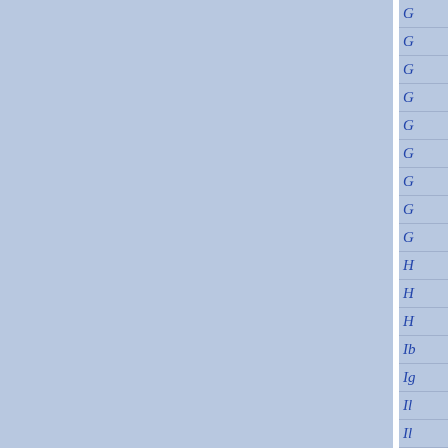[Figure (other): Document index/navigation panel on the right side showing alphabetical index entries starting with G and H and I entries, with blue italic text on a light blue background. Left portion shows two large light-blue content panels separated by a white vertical divider.]
G
G
G
G
G
G
G
G
G
H
H
H
Ib
Ig
Il
Il